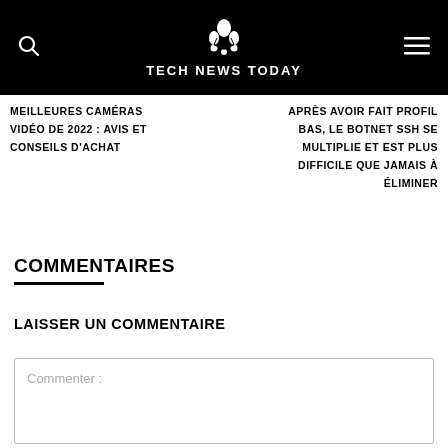TECH NEWS TODAY
MEILLEURES CAMÉRAS VIDÉO DE 2022 : AVIS ET CONSEILS D'ACHAT
APRÈS AVOIR FAIT PROFIL BAS, LE BOTNET SSH SE MULTIPLIE ET EST PLUS DIFFICILE QUE JAMAIS À ÉLIMINER
COMMENTAIRES
LAISSER UN COMMENTAIRE
Commenter :